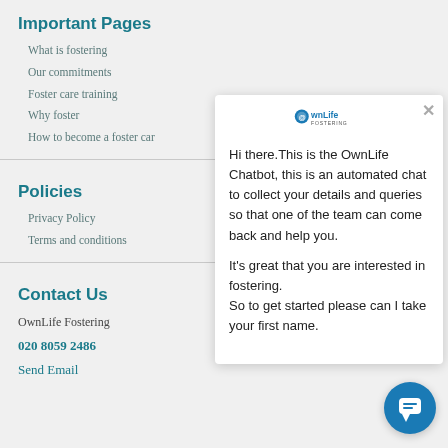Important Pages
What is fostering
Our commitments
Foster care training
Why foster
How to become a foster car
Policies
Privacy Policy
Terms and conditions
Contact Us
OwnLife Fostering
020 8059 2486
Send Email
[Figure (screenshot): OwnLife chatbot popup with logo, close button, and message: 'Hi there.This is the OwnLife Chatbot, this is an automated chat to collect your details and queries so that one of the team can come back and help you. It's great that you are interested in fostering. So to get started please can I take your first name.']
[Figure (other): Circular blue chat button with speech bubble icon in bottom right corner]